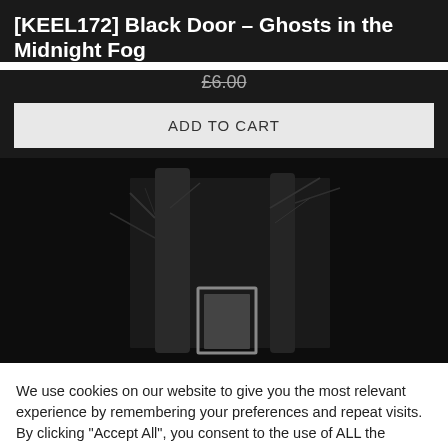[KEEL172] Black Door – Ghosts in the Midnight Fog
£6.00
ADD TO CART
[Figure (photo): Dark black and white photograph showing bare tree branches and a doorframe or window frame visible in the lower center, set against a near-black background.]
We use cookies on our website to give you the most relevant experience by remembering your preferences and repeat visits. By clicking "Accept All", you consent to the use of ALL the cookies. However, you may visit "Cookie Settings" to provide a controlled consent.
Cookie Settings
Accept All